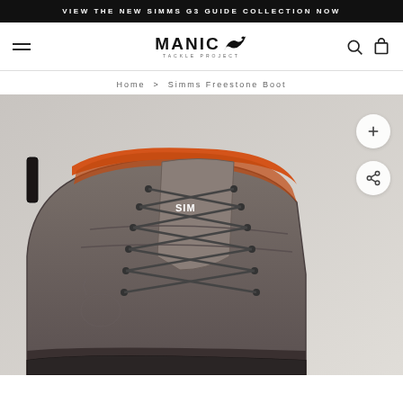VIEW THE NEW SIMMS G3 GUIDE COLLECTION NOW
[Figure (logo): Manic Tackle Project logo with stylized fish graphic]
Home > Simms Freestone Boot
[Figure (photo): Close-up photo of a Simms Freestone wading boot in grey/brown with orange lining, dark laces, and Simms branding on the side]